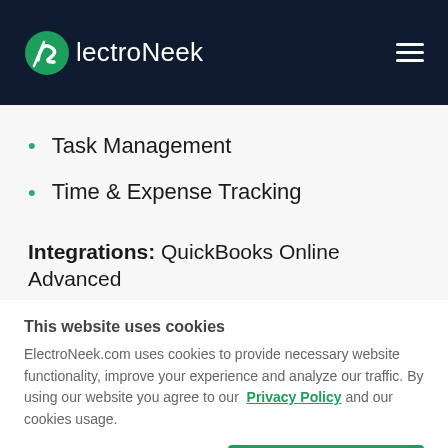ElectroNeek
Task Management
Time & Expense Tracking
Integrations: QuickBooks Online Advanced
This website uses cookies
ElectroNeek.com uses cookies to provide necessary website functionality, improve your experience and analyze our traffic. By using our website you agree to our Privacy Policy and our cookies usage.
Accept All Cookies